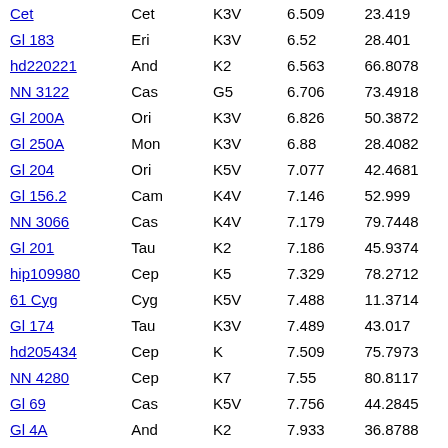| Name | Constellation | Type | Magnitude | Distance |
| --- | --- | --- | --- | --- |
| Cet | Cet | K3V | 6.509 | 23.419 |
| Gl 183 | Eri | K3V | 6.52 | 28.401 |
| hd220221 | And | K2 | 6.563 | 66.8078 |
| NN 3122 | Cas | G5 | 6.706 | 73.4918 |
| Gl 200A | Ori | K3V | 6.826 | 50.3872 |
| Gl 250A | Mon | K3V | 6.88 | 28.4082 |
| Gl 204 | Ori | K5V | 7.077 | 42.4681 |
| Gl 156.2 | Cam | K4V | 7.146 | 52.999 |
| NN 3066 | Cas | K4V | 7.179 | 79.7448 |
| Gl 201 | Tau | K2 | 7.186 | 45.9374 |
| hip109980 | Cep | K5 | 7.329 | 78.2712 |
| 61 Cyg | Cyg | K5V | 7.488 | 11.3714 |
| Gl 174 | Tau | K3V | 7.489 | 43.017 |
| hd205434 | Cep | K | 7.509 | 75.7973 |
| NN 4280 | Cep | K7 | 7.55 | 80.8117 |
| Gl 69 | Cas | K5V | 7.756 | 44.2845 |
| Gl 4A | And | K2 | 7.933 | 36.8788 |